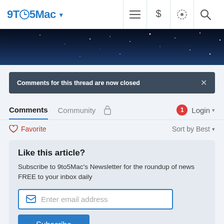9to5Mac
[Figure (photo): Dark blue starry night sky banner image]
Comments for this thread are now closed
Comments  Community  Login
Favorite  Sort by Best
Like this article?
Subscribe to 9to5Mac's Newsletter for the roundup of news FREE to your inbox daily
Enter email address
Subscribe
Hide this message